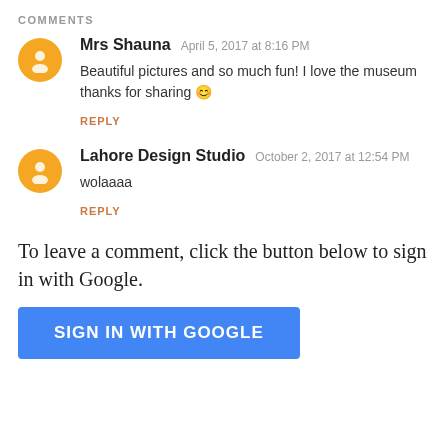COMMENTS
Mrs Shauna  April 5, 2017 at 8:16 PM
Beautiful pictures and so much fun! I love the museum thanks for sharing 😊
REPLY
Lahore Design Studio  October 2, 2017 at 12:54 PM
wolaaaa
REPLY
To leave a comment, click the button below to sign in with Google.
SIGN IN WITH GOOGLE